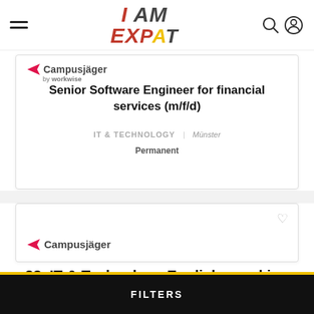IAmExpat navigation header with logo, hamburger menu, search and user icons
[Figure (logo): Campusjäger by workwise logo (partial, top of card)]
Senior Software Engineer for financial services (m/f/d)
IT & TECHNOLOGY | Münster
Permanent
[Figure (logo): Campusjäger logo (partial second card)]
23  IT & Technology English-speaking jobs in Münster, Germany
FILTERS